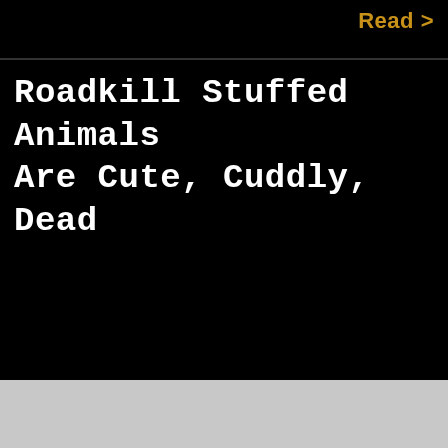Read >
Roadkill Stuffed Animals Are Cute, Cuddly, Dead